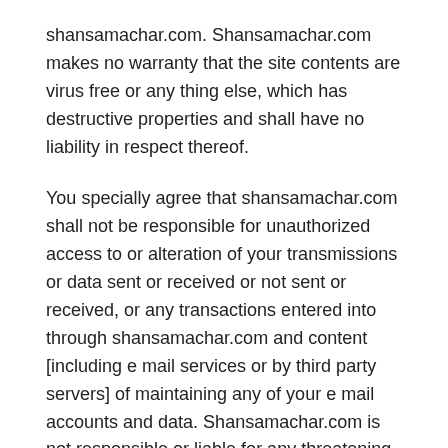shansamachar.com. Shansamachar.com makes no warranty that the site contents are virus free or any thing else, which has destructive properties and shall have no liability in respect thereof.
You specially agree that shansamachar.com shall not be responsible for unauthorized access to or alteration of your transmissions or data sent or received or not sent or received, or any transactions entered into through shansamachar.com and content [including e mail services or by third party servers] of maintaining any of your e mail accounts and data. Shansamachar.com is not responsible or liable for any threatening, defamatory, obscene, offensive, or illegal content or conduct of any infringement of another's rights, including intellectual property rights.